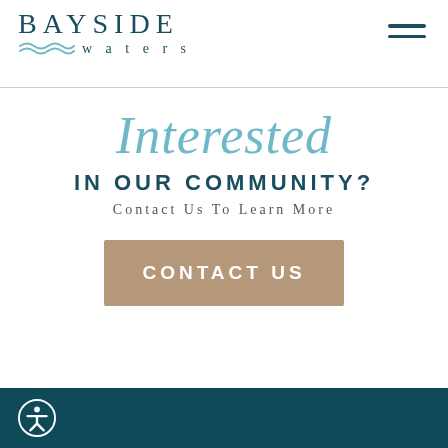[Figure (logo): Bayside Waters logo with stylized wave icon and text]
Interested IN OUR COMMUNITY? Contact Us To Learn More
CONTACT US
Accessibility icon in teal footer bar